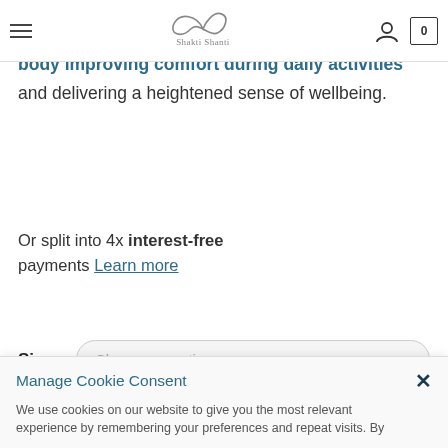Shakti Shanti — navigation bar with hamburger menu, logo, user icon, and cart (0)
The Emana® converts our own body heat into far infrared radiation and reflects them back to the body improving comfort during daily activities and delivering a heightened sense of wellbeing.
Or split into 4x interest-free payments Learn more
Size  Choose an option
Manage Cookie Consent
We use cookies on our website to give you the most relevant experience by remembering your preferences and repeat visits. By